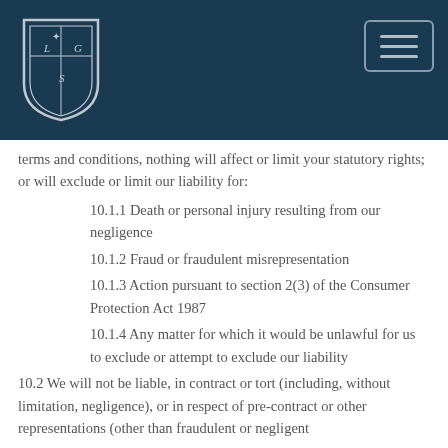[Figure (logo): LGS shield crest logo in white on dark navy background]
terms and conditions, nothing will affect or limit your statutory rights; or will exclude or limit our liability for:
10.1.1 Death or personal injury resulting from our negligence
10.1.2 Fraud or fraudulent misrepresentation
10.1.3 Action pursuant to section 2(3) of the Consumer Protection Act 1987
10.1.4 Any matter for which it would be unlawful for us to exclude or attempt to exclude our liability
10.2 We will not be liable, in contract or tort (including, without limitation, negligence), or in respect of pre-contract or other representations (other than fraudulent or negligent